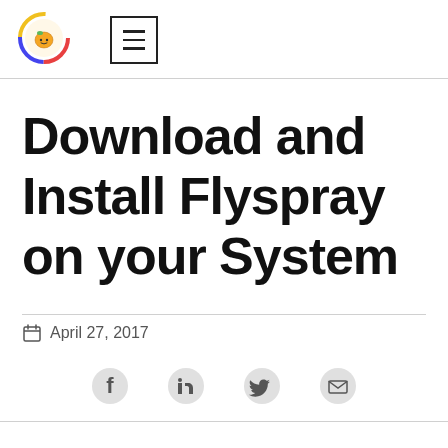[Figure (logo): Circular logo with colorful ring (red, blue, yellow) and a small icon in the center]
[Figure (illustration): Hamburger menu button icon (three horizontal lines) inside a square border]
Download and Install Flyspray on your System
April 27, 2017
[Figure (illustration): Social share icons: Facebook, LinkedIn, Twitter, Email]